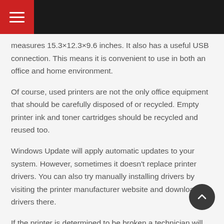measures 15.3×12.3×9.6 inches. It also has a useful USB connection. This means it is convenient to use in both an office and home environment.
Of course, used printers are not the only office equipment that should be carefully disposed of or recycled. Empty printer ink and toner cartridges should be recycled and reused too.
Windows Update will apply automatic updates to your system. However, sometimes it doesn't replace printer drivers. You can also try manually installing drivers by visiting the printer manufacturer website and downloading drivers there.
If the printer is determined to be broken a technician will come to pick it up. If there is a prior agreement